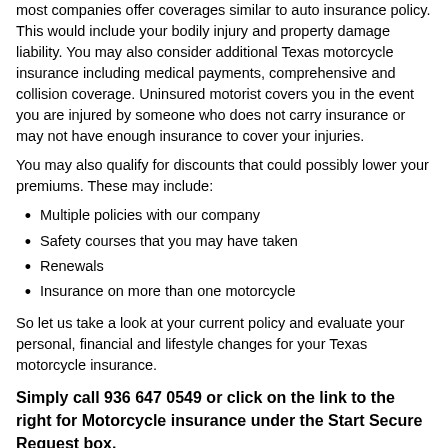most companies offer coverages similar to auto insurance policy. This would include your bodily injury and property damage liability. You may also consider additional Texas motorcycle insurance including medical payments, comprehensive and collision coverage. Uninsured motorist covers you in the event you are injured by someone who does not carry insurance or may not have enough insurance to cover your injuries.
You may also qualify for discounts that could possibly lower your premiums. These may include:
Multiple policies with our company
Safety courses that you may have taken
Renewals
Insurance on more than one motorcycle
So let us take a look at your current policy and evaluate your personal, financial and lifestyle changes for your Texas motorcycle insurance.
Simply call 936 647 0549 or click on the link to the right for Motorcycle insurance under the Start Secure Request box.